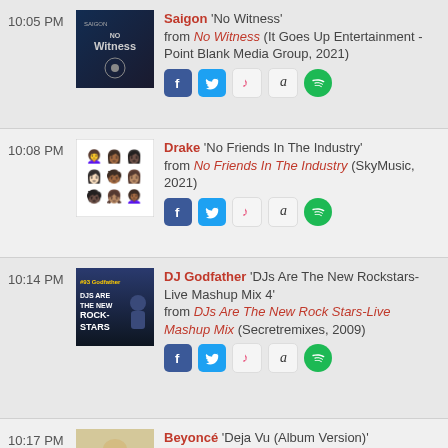10:05 PM — Saigon 'No Witness' from No Witness (It Goes Up Entertainment - Point Blank Media Group, 2021)
10:08 PM — Drake 'No Friends In The Industry' from No Friends In The Industry (SkyMusic, 2021)
10:14 PM — DJ Godfather 'DJs Are The New Rockstars-Live Mashup Mix 4' from DJs Are The New Rock Stars-Live Mashup Mix (Secretremixes, 2009)
10:17 PM — Beyoncé 'Deja Vu (Album Version)' from B'Day Deluxe Edition